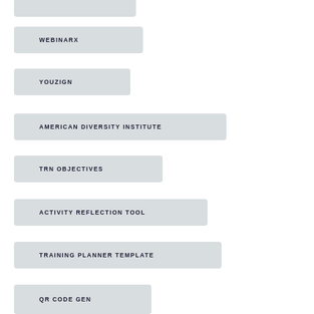WEBINARX
YOUZIGN
AMERICAN DIVERSITY INSTITUTE
TRN OBJECTIVES
ACTIVITY REFLECTION TOOL
TRAINING PLANNER TEMPLATE
QR CODE GEN